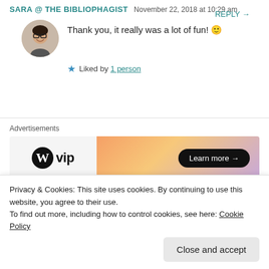SARA @ THE BIBLIOPHAGIST  November 22, 2018 at 10:29 am
REPLY →
Thank you, it really was a lot of fun! 🙂
★ Liked by 1 person
Advertisements
[Figure (logo): WordPress VIP advertisement banner with logo on left and orange-purple gradient on right with 'Learn more →' button]
LESLIE  November 21, 2018 at 4:16 pm  REPLY →
Privacy & Cookies: This site uses cookies. By continuing to use this website, you agree to their use.
To find out more, including how to control cookies, see here: Cookie Policy
Close and accept